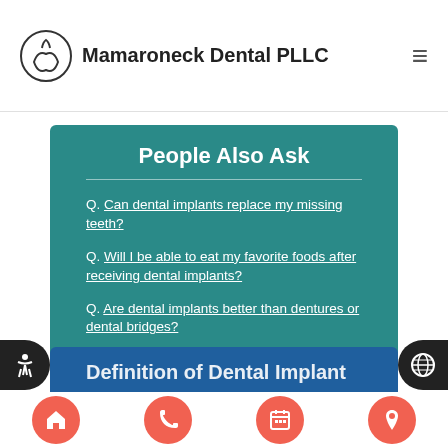Mamaroneck Dental PLLC
People Also Ask
Q. Can dental implants replace my missing teeth?
Q. Will I be able to eat my favorite foods after receiving dental implants?
Q. Are dental implants better than dentures or dental bridges?
Definition of Dental Implant